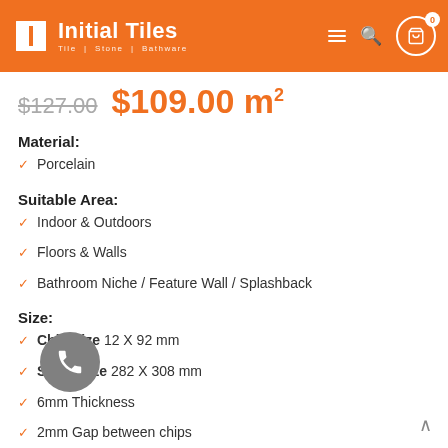Initial Tiles — Tile | Stone | Bathware
$127.00  $109.00 m²
Material:
Porcelain
Suitable Area:
Indoor & Outdoors
Floors & Walls
Bathroom Niche / Feature Wall / Splashback
Size:
Chip Size 12 X 92 mm
Sheet Size 282 X 308 mm
6mm Thickness
2mm Gap between chips